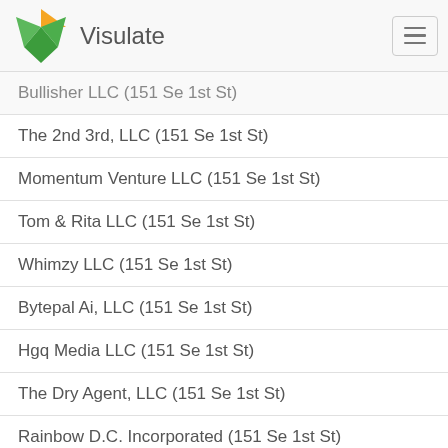Visulate
Bullisher LLC (151 Se 1st St)
The 2nd 3rd, LLC (151 Se 1st St)
Momentum Venture LLC (151 Se 1st St)
Tom & Rita LLC (151 Se 1st St)
Whimzy LLC (151 Se 1st St)
Bytepal Ai, LLC (151 Se 1st St)
Hgq Media LLC (151 Se 1st St)
The Dry Agent, LLC (151 Se 1st St)
Rainbow D.C. Incorporated (151 Se 1st St)
Montego Land Corporation (151 Se 1st St)